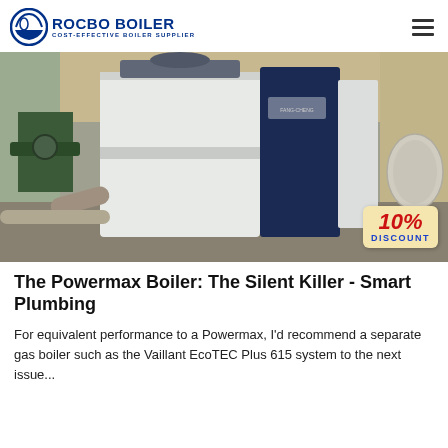ROCBO BOILER — COST-EFFECTIVE BOILER SUPPLIER
[Figure (photo): Industrial boiler unit (white and dark blue casing) inside a factory/warehouse setting, with a '10% DISCOUNT' badge overlaid in the bottom-right corner.]
The Powermax Boiler: The Silent Killer - Smart Plumbing
For equivalent performance to a Powermax, I'd recommend a separate gas boiler such as the Vaillant EcoTEC Plus 615 system to the next issue...